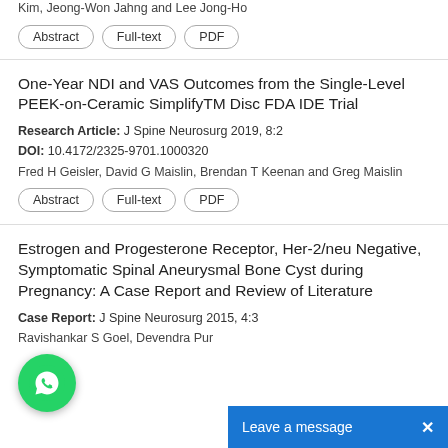Kim, Jeong-Won Jahng and Lee Jong-Ho
Abstract | Full-text | PDF
One-Year NDI and VAS Outcomes from the Single-Level PEEK-on-Ceramic SimplifyTM Disc FDA IDE Trial
Research Article: J Spine Neurosurg 2019, 8:2
DOI: 10.4172/2325-9701.1000320
Fred H Geisler, David G Maislin, Brendan T Keenan and Greg Maislin
Abstract | Full-text | PDF
Estrogen and Progesterone Receptor, Her-2/neu Negative, Symptomatic Spinal Aneurysmal Bone Cyst during Pregnancy: A Case Report and Review of Literature
Case Report: J Spine Neurosurg 2015, 4:3
Ravishankar S Goel, Devendra Pur...